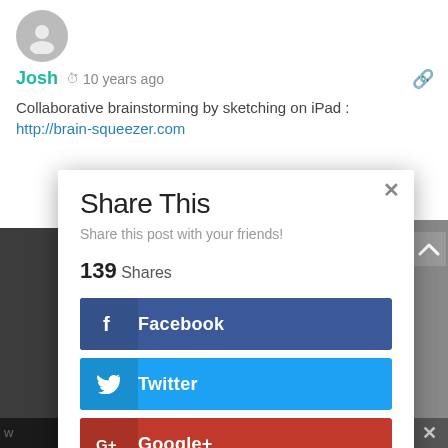[Figure (illustration): User avatar circle icon in gray]
Josh  10 years ago
Collaborative brainstorming by sketching on iPad : http://brain-squeezer.com
Share This
Share this post with your friends!
139 Shares
Facebook
Twitter
Google+
Pinterest